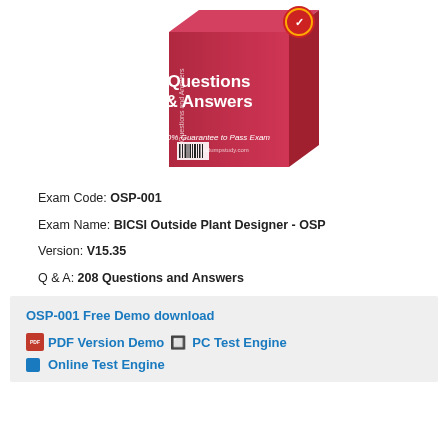[Figure (illustration): 3D product box with pink/red color showing 'Questions & Answers' text, '100% Guarantee to Pass Exam' and a website URL. Has a verified badge on top right corner.]
Exam Code: OSP-001
Exam Name: BICSI Outside Plant Designer - OSP
Version: V15.35
Q & A: 208 Questions and Answers
OSP-001 Free Demo download
PDF Version Demo | PC Test Engine
Online Test Engine